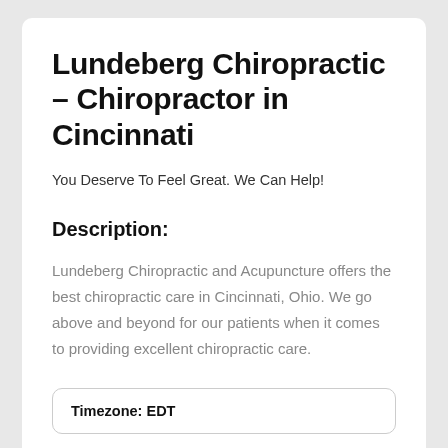Lundeberg Chiropractic – Chiropractor in Cincinnati
You Deserve To Feel Great. We Can Help!
Description:
Lundeberg Chiropractic and Acupuncture offers the best chiropractic care in Cincinnati, Ohio. We go above and beyond for our patients when it comes to providing excellent chiropractic care.
Timezone: EDT